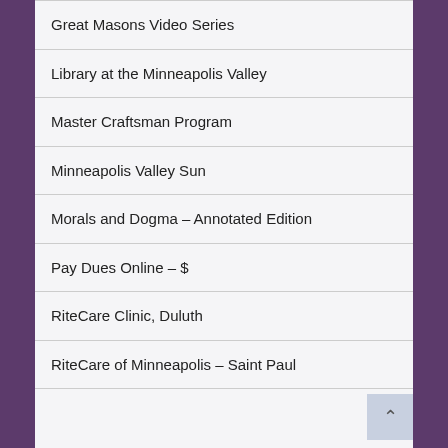Great Masons Video Series
Library at the Minneapolis Valley
Master Craftsman Program
Minneapolis Valley Sun
Morals and Dogma – Annotated Edition
Pay Dues Online – $
RiteCare Clinic, Duluth
RiteCare of Minneapolis – Saint Paul